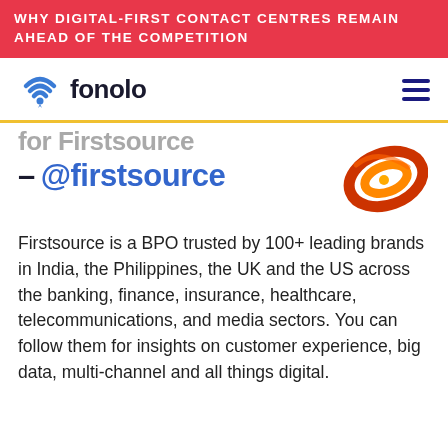WHY DIGITAL-FIRST CONTACT CENTRES REMAIN AHEAD OF THE COMPETITION
[Figure (logo): Fonolo logo with wifi/location pin icon and wordmark]
[Figure (logo): Firstsource company logo - orange spiral swoosh]
— @firstsource
Firstsource is a BPO trusted by 100+ leading brands in India, the Philippines, the UK and the US across the banking, finance, insurance, healthcare, telecommunications, and media sectors. You can follow them for insights on customer experience, big data, multi-channel and all things digital.